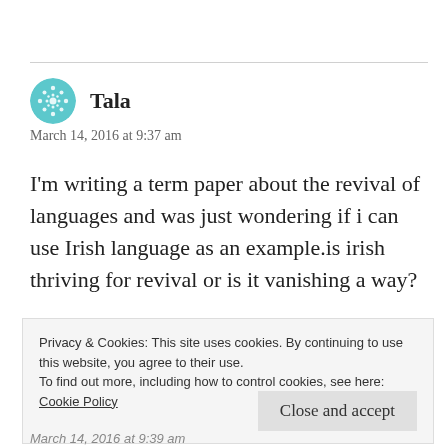Tala
March 14, 2016 at 9:37 am
I'm writing a term paper about the revival of languages and was just wondering if i can use Irish language as an example.is irish thriving for revival or is it vanishing a way?
Privacy & Cookies: This site uses cookies. By continuing to use this website, you agree to their use.
To find out more, including how to control cookies, see here:
Cookie Policy
Close and accept
March 14, 2016 at 9:39 am